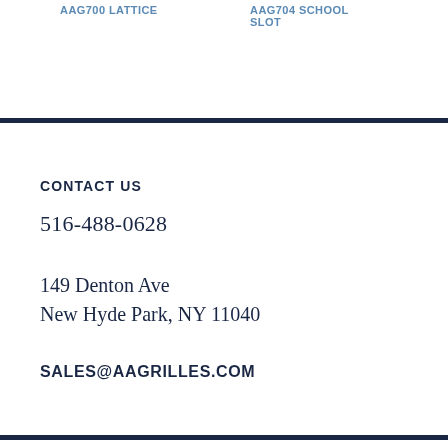AAG700 LATTICE   AAG704 SCHOOL SLOT
CONTACT US
516-488-0628
149 Denton Ave
New Hyde Park, NY 11040
SALES@AAGRILLES.COM